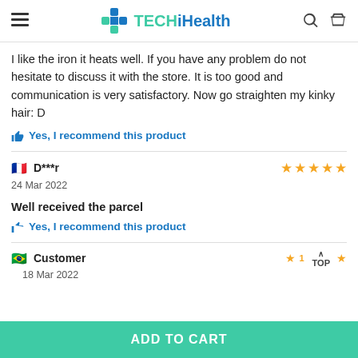TECHiHealth
I like the iron it heats well. If you have any problem do not hesitate to discuss it with the store. It is too good and communication is very satisfactory. Now go straighten my kinky hair: D
Yes, I recommend this product
D***r — 24 Mar 2022 — 5 stars — Well received the parcel — Yes, I recommend this product
Customer — 18 Mar 2022 — 1 star